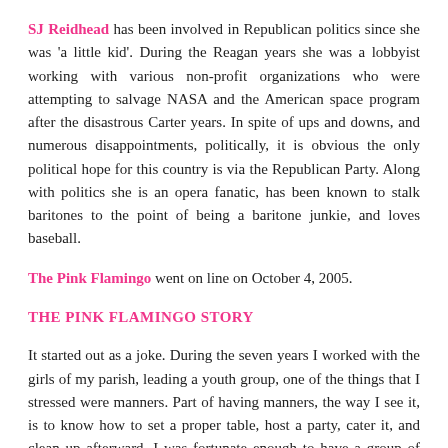SJ Reidhead has been involved in Republican politics since she was 'a little kid'. During the Reagan years she was a lobbyist working with various non-profit organizations who were attempting to salvage NASA and the American space program after the disastrous Carter years. In spite of ups and downs, and numerous disappointments, politically, it is obvious the only political hope for this country is via the Republican Party. Along with politics she is an opera fanatic, has been known to stalk baritones to the point of being a baritone junkie, and loves baseball.
The Pink Flamingo went on line on October 4, 2005.
THE PINK FLAMINGO STORY
It started out as a joke. During the seven years I worked with the girls of my parish, leading a youth group, one of the things that I stressed were manners. Part of having manners, the way I see it, is to know how to set a proper table, host a party, cater it, and clean up afterward. I was fortunate enough to have a group of very talented girls in my youth